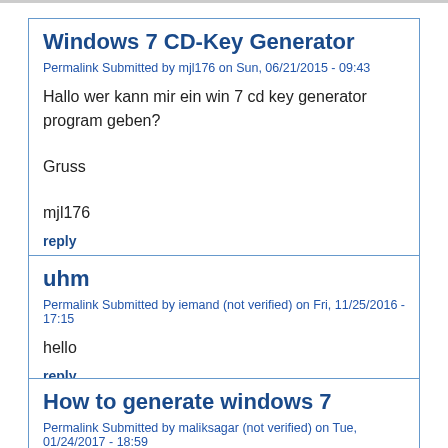Windows 7 CD-Key Generator
Permalink Submitted by mjl176 on Sun, 06/21/2015 - 09:43
Hallo wer kann mir ein win 7 cd key generator program geben?

Gruss

mjl176
reply
uhm
Permalink Submitted by iemand (not verified) on Fri, 11/25/2016 - 17:15
hello
reply
How to generate windows 7
Permalink Submitted by maliksagar (not verified) on Tue, 01/24/2017 - 18:59
How to generate windows 7 product key?